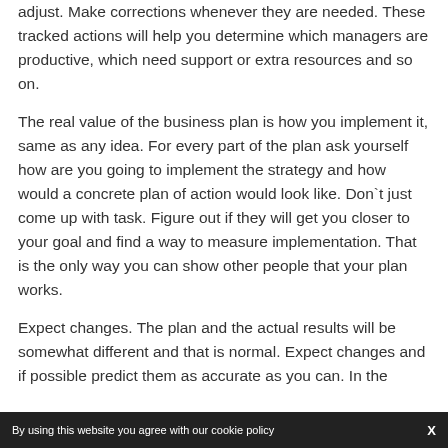adjust. Make corrections whenever they are needed. These tracked actions will help you determine which managers are productive, which need support or extra resources and so on.
The real value of the business plan is how you implement it, same as any idea. For every part of the plan ask yourself how are you going to implement the strategy and how would a concrete plan of action would look like. Don`t just come up with task. Figure out if they will get you closer to your goal and find a way to measure implementation. That is the only way you can show other people that your plan works.
Expect changes. The plan and the actual results will be somewhat different and that is normal. Expect changes and if possible predict them as accurate as you can. In the
By using this website you agree with our cookie policy   X